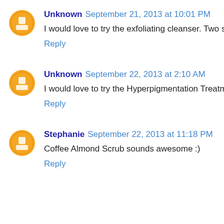Unknown September 21, 2013 at 10:01 PM
I would love to try the exfoliating cleanser. Two steps al
Reply
Unknown September 22, 2013 at 2:10 AM
I would love to try the Hyperpigmentation Treatment fo
Reply
Stephanie September 22, 2013 at 11:18 PM
Coffee Almond Scrub sounds awesome :)
Reply